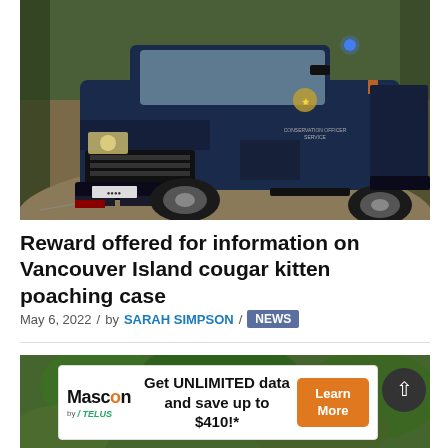[Figure (photo): A dark navy blue Conservation Officer Service pickup truck on a dirt road surrounded by forest. The vehicle has a blue flashing light on top and orange accents. A winch cable is visible at the front.]
Reward offered for information on Vancouver Island cougar kitten poaching case
May 6, 2022  /  by SARAH SIMPSON  /  NEWS
[Figure (photo): Partial photo visible at bottom of page, appears to show greenery/foliage.]
[Figure (other): Advertisement: Mascon by TELUS - Get UNLIMITED data and save up to $410!* Learn More]